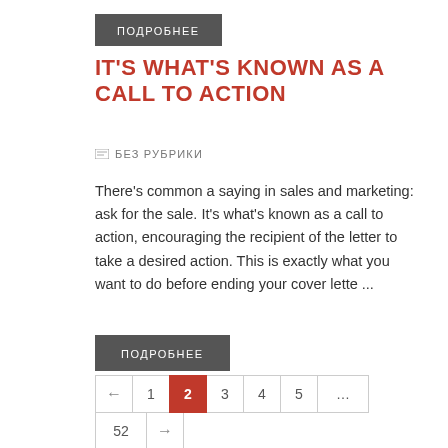ПОДРОБНЕЕ
IT'S WHAT'S KNOWN AS A CALL TO ACTION
БЕЗ РУБРИКИ
There's common a saying in sales and marketing: ask for the sale. It's what's known as a call to action, encouraging the recipient of the letter to take a desired action. This is exactly what you want to do before ending your cover lette ...
ПОДРОБНЕЕ
← 1 2 3 4 5 … 52 →